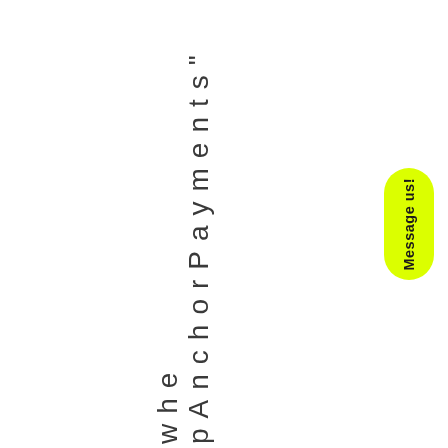pAnchorPayments" whe
[Figure (other): Yellow pill-shaped button with rotated text 'Message us!']